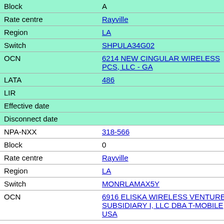| Field | Value |
| --- | --- |
| Block | A |
| Rate centre | Rayville |
| Region | LA |
| Switch | SHPULA34G02 |
| OCN | 6214 NEW CINGULAR WIRELESS PCS, LLC - GA |
| LATA | 486 |
| LIR |  |
| Effective date |  |
| Disconnect date |  |
| NPA-NXX | 318-566 |
| Block | 0 |
| Rate centre | Rayville |
| Region | LA |
| Switch | MONRLAMAX5Y |
| OCN | 6916 ELISKA WIRELESS VENTURES SUBSIDIARY I, LLC DBA T-MOBILE USA |
| LATA | 486 |
| LIR |  |
| Effective date | 2011-02-10 |
| Disconnect date |  |